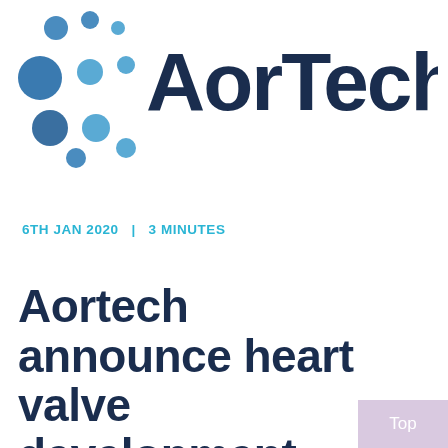[Figure (logo): AorTech company logo with dark navy text 'AorTech' and blue dot pattern on the left side]
6TH JAN 2020  |  3 MINUTES
Aortech announce heart valve development update